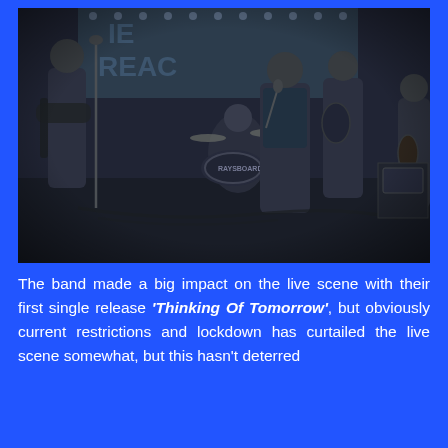[Figure (photo): Black and white photograph of a rock band performing live on stage. Multiple band members visible including a guitarist on the left, a drummer in the background, a vocalist/singer in the center-right holding a microphone, another guitarist, and a partial figure on the far right. Stage equipment and cables visible. A drum kit with 'RAYSBOARDS' visible on the bass drum.]
The band made a big impact on the live scene with their first single release 'Thinking Of Tomorrow', but obviously current restrictions and lockdown has curtailed the live scene somewhat, but this hasn't deterred